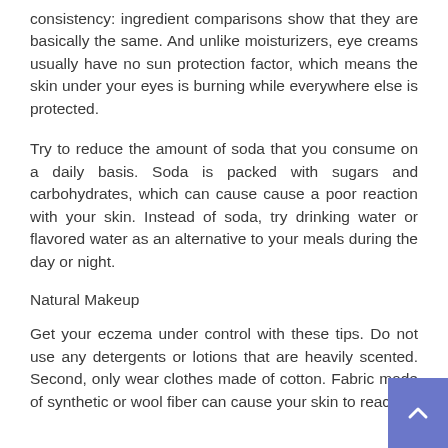consistency: ingredient comparisons show that they are basically the same. And unlike moisturizers, eye creams usually have no sun protection factor, which means the skin under your eyes is burning while everywhere else is protected.
Try to reduce the amount of soda that you consume on a daily basis. Soda is packed with sugars and carbohydrates, which can cause cause a poor reaction with your skin. Instead of soda, try drinking water or flavored water as an alternative to your meals during the day or night.
Natural Makeup
Get your eczema under control with these tips. Do not use any detergents or lotions that are heavily scented. Second, only wear clothes made of cotton. Fabric made of synthetic or wool fiber can cause your skin to react.